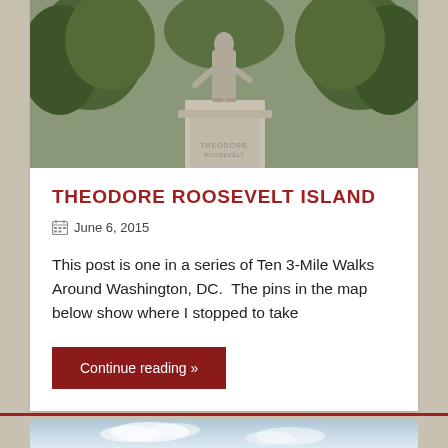[Figure (photo): Photograph of Theodore Roosevelt statue on a stone pedestal surrounded by trees]
THEODORE ROOSEVELT ISLAND
June 6, 2015
This post is one in a series of Ten 3-Mile Walks Around Washington, DC.  The pins in the map below show where I stopped to take
Continue reading »
[Figure (photo): Partial photo visible at bottom — sky with clouds, start of next blog post card]